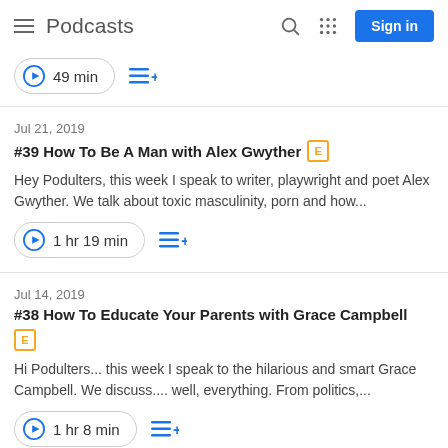Podcasts
49 min
Jul 21, 2019
#39 How To Be A Man with Alex Gwyther [E]
Hey Podulters, this week I speak to writer, playwright and poet Alex Gwyther. We talk about toxic masculinity, porn and how...
1 hr 19 min
Jul 14, 2019
#38 How To Educate Your Parents with Grace Campbell [E]
Hi Podulters... this week I speak to the hilarious and smart Grace Campbell. We discuss.... well, everything. From politics,...
1 hr 8 min
Jul 7, 2019